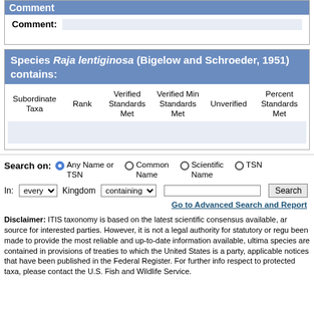Comment:
Comment:
Species Raja lentiginosa (Bigelow and Schroeder, 1951) contains:
| Subordinate Taxa | Rank | Verified Standards Met | Verified Min Standards Met | Unverified | Percent Standards Met |
| --- | --- | --- | --- | --- | --- |
|  |
Search on: Any Name or TSN  Common Name  Scientific Name  TSN
In: every Kingdom containing [text field] Search
Go to Advanced Search and Report
Disclaimer: ITIS taxonomy is based on the latest scientific consensus available, and is provided as a public service for interested parties. However, it is not a legal authority for statutory or regulatory purposes. While every effort has been made to provide the most reliable and up-to-date information available, ultimate legal requirements with respect to species are contained in provisions of treaties to which the United States is a party, wildlife statutes, regulations, and any applicable notices that have been published in the Federal Register. For further information on U.S. legal requirements with respect to protected taxa, please contact the U.S. Fish and Wildlife Service.